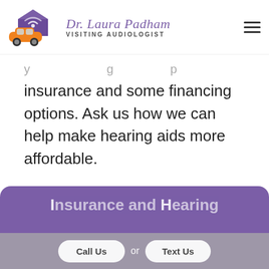[Figure (logo): Dr. Laura Padham Visiting Audiologist logo with orange car and purple house with wifi waves]
insurance and some financing options. Ask us how we can help make hearing aids more affordable.
Insurance and Hearing Aids
Call Us
or
Text Us